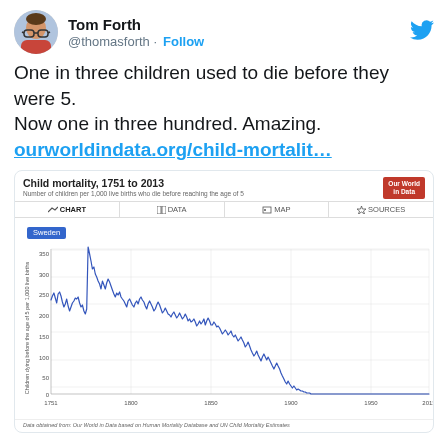[Figure (screenshot): Twitter avatar of Tom Forth, a man with glasses wearing a checkered shirt]
Tom Forth
@thomasforth · Follow
One in three children used to die before they were 5.
Now one in three hundred. Amazing.
ourworldindata.org/child-mortalit…
[Figure (line-chart): Line chart showing child mortality in Sweden (children dying before the age of 5 per 1,000 live births) from 1751 to 2013. Values start around 300-350 in 1751, spike to ~480 around 1770, fluctuate between 250-400 until about 1800, then gradually decline with volatility to around 200-250 by 1850, continuing to decline to ~150 by 1900, dropping sharply to near 0 by 2013.]
Data obtained from: Our World in Data based on Human Mortality Database and UN Child Mortality Estimates